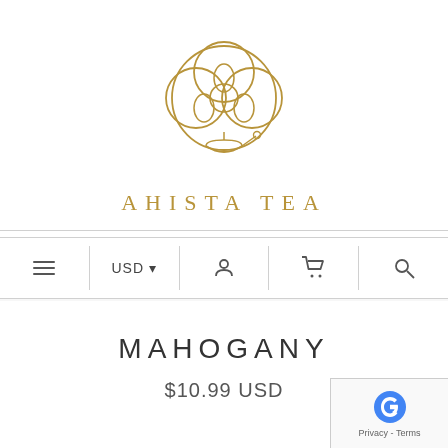[Figure (logo): Ahista Tea logo: an ornate golden geometric mandala-like circular design with overlapping circles and leaf/petal shapes, with a small bowl and spoon at the bottom]
AHISTA TEA
[Figure (screenshot): Navigation bar with hamburger menu, USD currency selector with dropdown arrow, user account icon, shopping cart icon, and search icon, separated by vertical dividers]
MAHOGANY
$10.99 USD